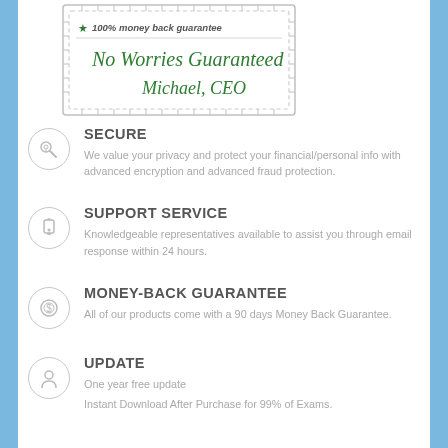[Figure (illustration): Guarantee stamp with star, '100% money back guarantee' text, and handwritten signature 'No Worries Guaranteed, Michael, CEO' in green cursive on white background with dashed border]
SECURE
We value your privacy and protect your financial/personal info with advanced encryption and advanced fraud protection.
SUPPORT SERVICE
Knowledgeable representatives available to assist you through email response within 24 hours.
MONEY-BACK GUARANTEE
All of our products come with a 90 days Money Back Guarantee.
UPDATE
One year free update
Instant Download After Purchase for 99% of Exams.